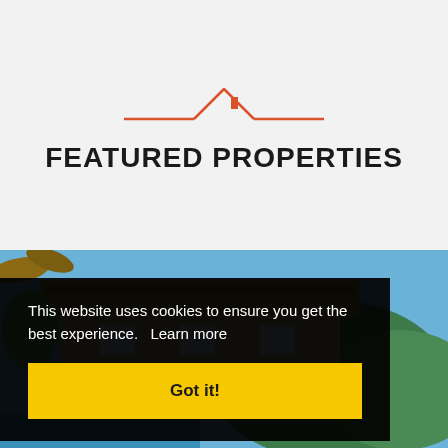[Figure (logo): Orange house/roof icon above the title, with horizontal lines extending left and right]
FEATURED PROPERTIES
[Figure (photo): Photograph of a property with thatched roof, blue sky, trees and mountains in background, with a pool area visible]
This website uses cookies to ensure you get the best experience.  Learn more
Got it!